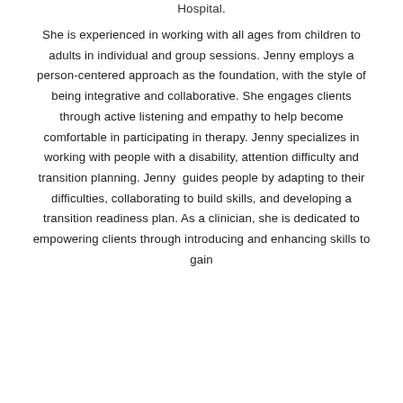Hospital.
She is experienced in working with all ages from children to adults in individual and group sessions. Jenny employs a person-centered approach as the foundation, with the style of being integrative and collaborative. She engages clients through active listening and empathy to help become comfortable in participating in therapy. Jenny specializes in working with people with a disability, attention difficulty and transition planning. Jenny guides people by adapting to their difficulties, collaborating to build skills, and developing a transition readiness plan. As a clinician, she is dedicated to empowering clients through introducing and enhancing skills to gain